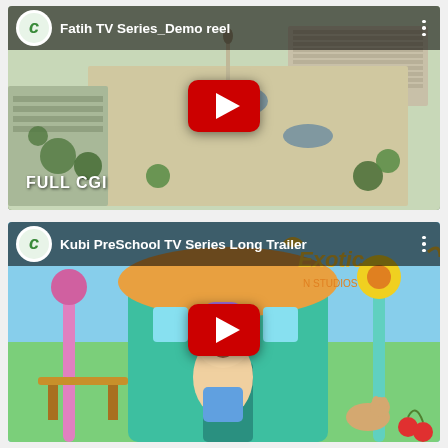[Figure (screenshot): YouTube video thumbnail for 'Fatih TV Series_Demo reel' showing an aerial CGI view of a historic Ottoman city with buildings and courtyards. Has a YouTube play button in the center, channel icon with green C logo, and 'FULL CGI' text label at bottom left.]
[Figure (screenshot): YouTube video thumbnail for 'Kubi PreSchool TV Series Long Trailer' showing a colorful animated cartoon scene with a child character in a purple hat standing in front of a teal building with exotic tropical decorations and animals.]